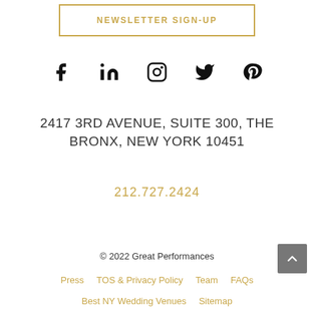NEWSLETTER SIGN-UP
[Figure (illustration): Social media icons: Facebook, LinkedIn, Instagram, Twitter, Pinterest]
2417 3RD AVENUE, SUITE 300, THE BRONX, NEW YORK 10451
212.727.2424
© 2022 Great Performances
Press
TOS & Privacy Policy
Team
FAQs
Best NY Wedding Venues
Sitemap